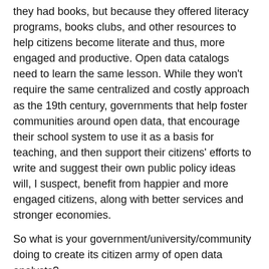they had books, but because they offered literacy programs, books clubs, and other resources to help citizens become literate and thus, more engaged and productive. Open data catalogs need to learn the same lesson. While they won't require the same centralized and costly approach as the 19th century, governments that help foster communities around open data, that encourage their school system to use it as a basis for teaching, and then support their citizens' efforts to write and suggest their own public policy ideas will, I suspect, benefit from happier and more engaged citizens, along with better services and stronger economies.
So what is your government/university/community doing to create its citizen army of open data analysts?
Other posts by David that you might find of interest include:
Open Data as an Old Idea – Gov 2.0 Ignite Talk
Case Study: How Canada Inte...